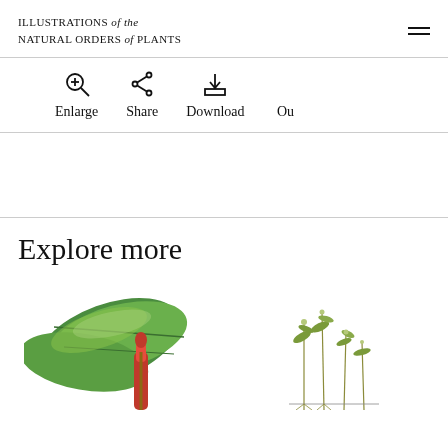ILLUSTRATIONS of the NATURAL ORDERS of PLANTS
Enlarge  Share  Download  Ou...
Explore more
[Figure (illustration): Botanical illustration showing large green tropical leaves with red flower spike, partially cropped]
[Figure (illustration): Botanical illustration showing small delicate plant specimens with thin stems and small flowers, partially cropped]